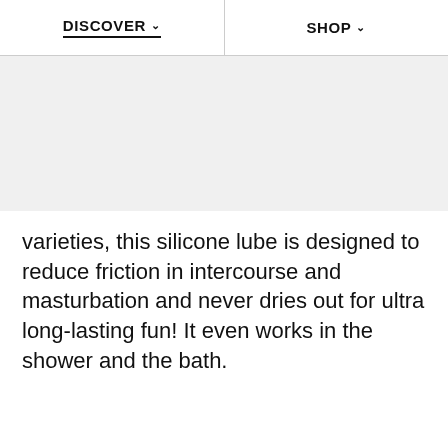DISCOVER   SHOP
varieties, this silicone lube is designed to reduce friction in intercourse and masturbation and never dries out for ultra long-lasting fun! It even works in the shower and the bath.